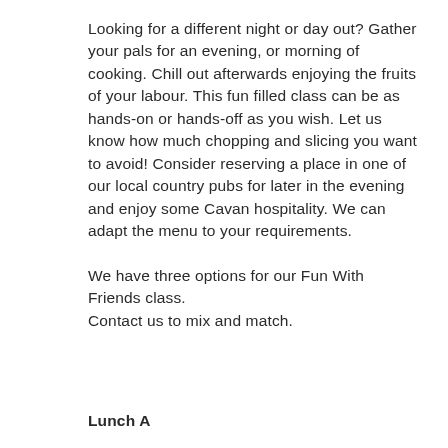Looking for a different night or day out? Gather your pals for an evening, or morning of cooking. Chill out afterwards enjoying the fruits of your labour. This fun filled class can be as hands-on or hands-off as you wish. Let us know how much chopping and slicing you want to avoid! Consider reserving a place in one of our local country pubs for later in the evening and enjoy some Cavan hospitality. We can adapt the menu to your requirements.
We have three options for our Fun With Friends class.
Contact us to mix and match.
Lunch A